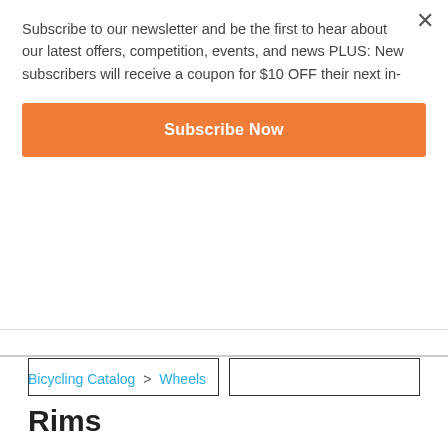Subscribe to our newsletter and be the first to hear about our latest offers, competition, events, and news PLUS: New subscribers will receive a coupon for $10 OFF their next in-
[Figure (other): Orange 'Subscribe Now' button]
Bicycling Catalog > Wheels
Rims
[Figure (photo): Two black bicycle rims shown side by side, partially visible at bottom of page]